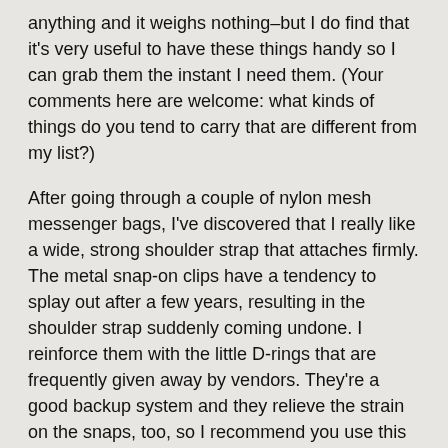anything and it weighs nothing–but I do find that it's very useful to have these things handy so I can grab them the instant I need them. (Your comments here are welcome: what kinds of things do you tend to carry that are different from my list?)
After going through a couple of nylon mesh messenger bags, I've discovered that I really like a wide, strong shoulder strap that attaches firmly. The metal snap-on clips have a tendency to splay out after a few years, resulting in the shoulder strap suddenly coming undone. I reinforce them with the little D-rings that are frequently given away by vendors. They're a good backup system and they relieve the strain on the snaps, too, so I recommend you use this trick on shoulder bags and computer bags both.
So I'm going to give the bailout bag a try and see how it works. If you're in the market for a good shoulder bag yourself, check